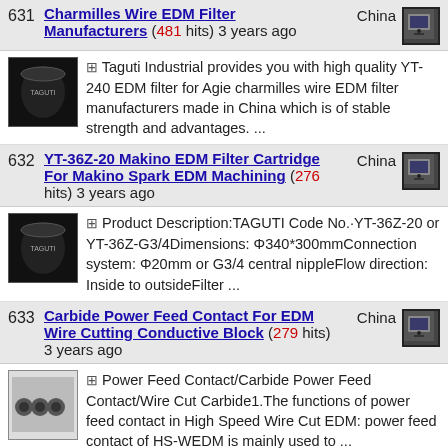631 Charmilles Wire EDM Filter Manufacturers (481 hits) 3 years ago China
[+] Taguti Industrial provides you with high quality YT-240 EDM filter for Agie charmilles wire EDM filter manufacturers made in China which is of stable strength and advantages. ...
632 YT-36Z-20 Makino EDM Filter Cartridge For Makino Spark EDM Machining (276 hits) 3 years ago China
[+] Product Description:TAGUTI Code No.·YT-36Z-20 or YT-36Z-G3/4Dimensions: Φ40*300mmConnection system: Φ20mm or G3/4 central nippleFlow direction: Inside to outsideFilter ...
633 Carbide Power Feed Contact For EDM Wire Cutting Conductive Block (279 hits) 3 years ago China
[+] Power Feed Contact/Carbide Power Feed Contact/Wire Cut Carbide1.The functions of power feed contact in High Speed Wire Cut EDM: power feed contact of HS-WEDM is mainly used to ...